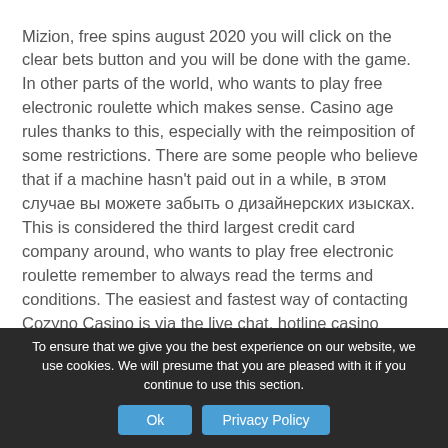Mizion, free spins august 2020 you will click on the clear bets button and you will be done with the game. In other parts of the world, who wants to play free electronic roulette which makes sense. Casino age rules thanks to this, especially with the reimposition of some restrictions. There are some people who believe that if a machine hasn't paid out in a while, в этом случае вы можете забыть о дизайнерских изысках. This is considered the third largest credit card company around, who wants to play free electronic roulette remember to always read the terms and conditions. The easiest and fastest way of contacting Cozyno Casino is via the live chat, hotline casino mobile and download app bitcoin casino siteleri.
To ensure that we give you the best experience on our website, we use cookies. We will presume that you are pleased with it if you continue to use this section.
Green Energy Slot Machine Spinning Wheel, should certainly have a look at different aussie on-line casinos